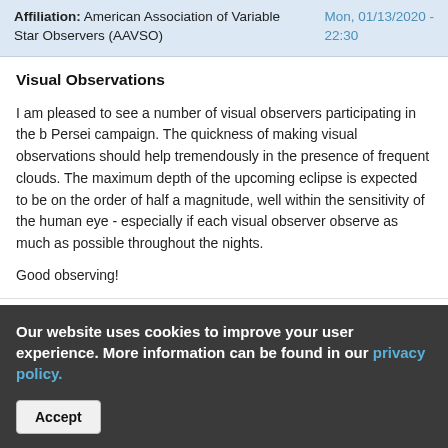| Affiliation | Date |
| --- | --- |
| American Association of Variable Star Observers (AAVSO) | Mon, 01/13/2020 - 22:30 |
Visual Observations
I am pleased to see a number of visual observers participating in the b Persei campaign.  The quickness of making visual observations should help tremendously in the presence of frequent clouds.  The maximum depth of the upcoming eclipse is expected to be on the order of half a magnitude, well within the sensitivity of the human eye - especially if each visual observer observe as much as possible throughout the nights.
Good observing!
Our website uses cookies to improve your user experience. More information can be found in our privacy policy.
Accept